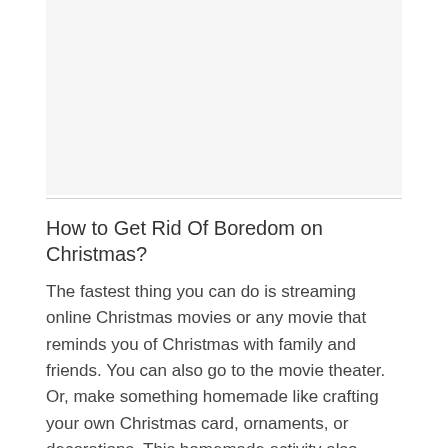[Figure (other): Advertisement or image placeholder area at the top of the page]
How to Get Rid Of Boredom on Christmas?
The fastest thing you can do is streaming online Christmas movies or any movie that reminds you of Christmas with family and friends. You can also go to the movie theater. Or, make something homemade like crafting your own Christmas card, ornaments, or decorations. This homemade activity also includes cooking and baking. Go call your grandma or someone for their delicious Christmas food recipe. There are a lot of public places with interesting settings during Christmas time. Why